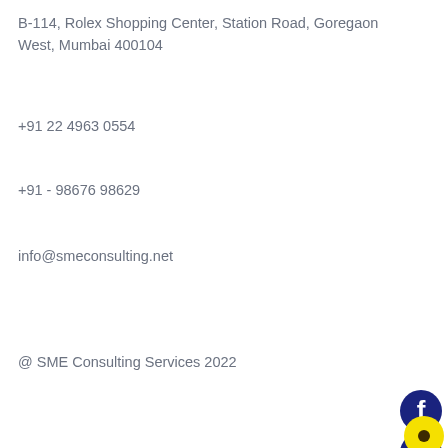B-114, Rolex Shopping Center, Station Road, Goregaon West, Mumbai 400104
+91 22 4963 0554
+91 - 98676 98629
info@smeconsulting.net
@ SME Consulting Services 2022
[Figure (logo): Facebook social media icon - dark navy circular button with white F logo]
[Figure (logo): WhatsApp social media icon - dark navy circular button with white phone/chat logo]
[Figure (logo): Yellow circular icon with dark center dot, partially cropped at bottom right corner]